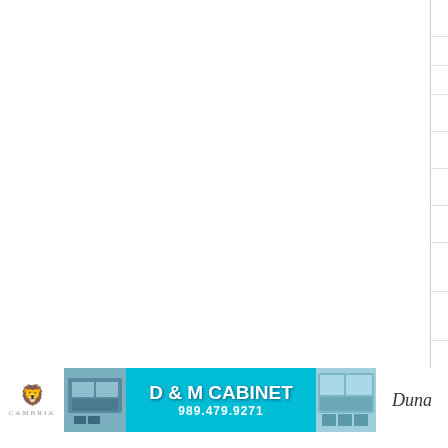| Date | Sport | Opponent |
| --- | --- | --- |
| January 19, 2016 | Basketball (Girls) | G... |
| January 15, 2016 | Basketball (Girls) | M... |
| January 14, 2016 | Basketball (Boys) | M... |
| January 11, 2016 | Basketball (Boys) | M... |
| January 09, 2016 | Basketball (Girls) | M... |
| January 08, 2016 | Basketball (Girls) | M... |
| January 07, 2016 | Basketball (Boys) | M... |
| December 21, 2015 | Basketball (Boys) | C... |
| December 17, 2015 | Basketball (Boys) | C... |
| December 14, 2015 | Basketball (Boys) | K... |
| December 09, 2015 | Basketball (Girls) | M... |
| December 01, 2015 | Basketball (Girls) | C... |
[Figure (photo): D & M Cabinet advertisement banner with Cambria logo, teal background, phone number 989.479.9271, kitchen photo, and signature]